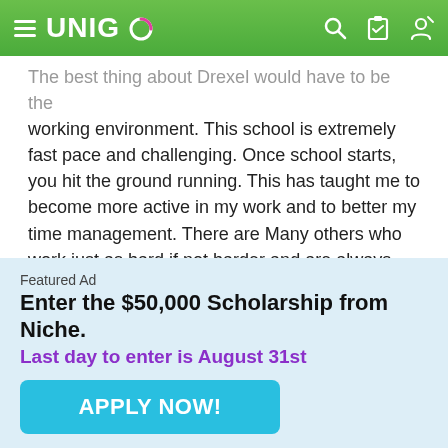UNIGO
The best thing about Drexel would have to be the working environment. This school is extremely fast pace and challenging. Once school starts, you hit the ground running. This has taught me to become more active in my work and to better my time management. There are Many others who work just as hard if not harder and are always willing to help you in times of need.
Craig
like all the spots on campus where you can just sit
Featured Ad
Enter the $50,000 Scholarship from Niche.
Last day to enter is August 31st
APPLY NOW!